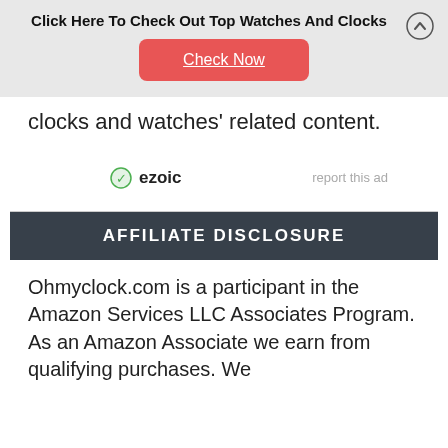Click Here To Check Out Top Watches And Clocks
[Figure (other): Red 'Check Now' button with underline text on gray ad banner background]
clocks and watches' related content.
[Figure (logo): Ezoic logo with green circular icon and 'ezoic' text, with 'report this ad' link on the right]
AFFILIATE DISCLOSURE
Ohmyclock.com is a participant in the Amazon Services LLC Associates Program. As an Amazon Associate we earn from qualifying purchases. We